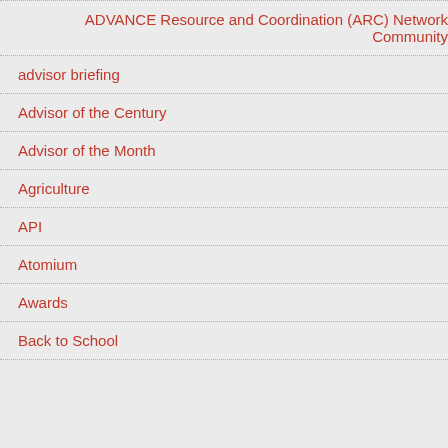ADVANCE Resource and Coordination (ARC) Network Community
advisor briefing
Advisor of the Century
Advisor of the Month
Agriculture
API
Atomium
Awards
Back to School